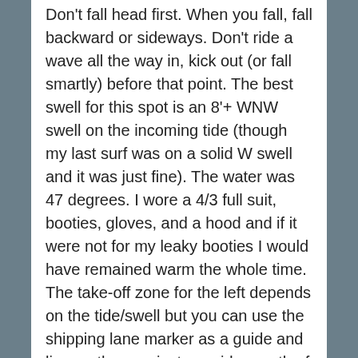Don't fall head first. When you fall, fall backward or sideways. Don't ride a wave all the way in, kick out (or fall smartly) before that point. The best swell for this spot is an 8'+ WNW swell on the incoming tide (though my last surf was on a solid W swell and it was just fine). The water was 47 degrees. I wore a 4/3 full suit, booties, gloves, and a hood and if it were not for my leaky booties I would have remained warm the whole time. The take-off zone for the left depends on the tide/swell but you can use the shipping lane marker as a guide and line up there or just a smidge north of the marker. With the right swell, the waves are super fun, consistent, and have an excellent shape. On an 8' swell, you can expect shoulder high sets. You may even happen upon a small barrel towards the inside section. The right point had some nice sets coming in as well but I surf goofy foot and I was having too much